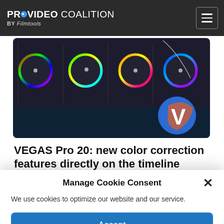PROVIDEO COALITION BY Filmtools
[Figure (screenshot): Screenshot of VEGAS Pro 20 color grading interface showing color wheels and the Vegas Pro V logo badge]
VEGAS Pro 20: new color correction features directly on the timeline
Written by Jose Antunes
Manage Cookie Consent
We use cookies to optimize our website and our service.
Accept